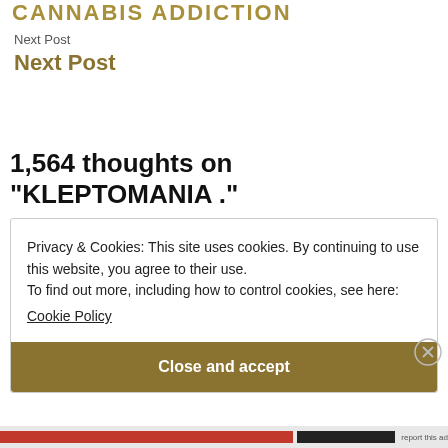CANNABIS ADDICTION
Next Post
Next Post
1,564 thoughts on “KLEPTOMANIA .”
Privacy & Cookies: This site uses cookies. By continuing to use this website, you agree to their use.
To find out more, including how to control cookies, see here:
Cookie Policy
Close and accept